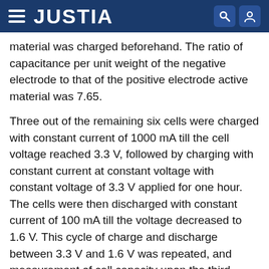JUSTIA
material was charged beforehand. The ratio of capacitance per unit weight of the negative electrode to that of the positive electrode active material was 7.65.
Three out of the remaining six cells were charged with constant current of 1000 mA till the cell voltage reached 3.3 V, followed by charging with constant current at constant voltage with constant voltage of 3.3 V applied for one hour. The cells were then discharged with constant current of 100 mA till the voltage decreased to 1.6 V. This cycle of charge and discharge between 3.3 V and 1.6 V was repeated, and measurement of cell capacity upon the third discharge showed 90 mAh (mean value of three cells).
Then the capacity was measured by changing the discharge current as 180 mA (2C), 450 mA (5C), 900 mA